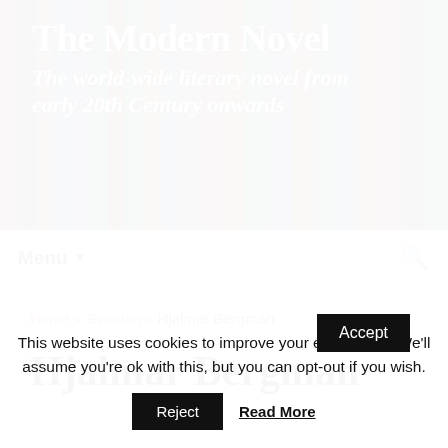[Figure (photo): Header banner with colorful book spines in the background, overlaid with the site title and subtitle in white bold text.]
The Modern Novel
The world-wide literary novel from early 20th Century onwards
Menu ▼
Home » Sweden » Hjalmar Bergman
Hjalmar Bergman
This website uses cookies to improve your experience. We'll assume you're ok with this, but you can opt-out if you wish.
Accept
Reject
Read More